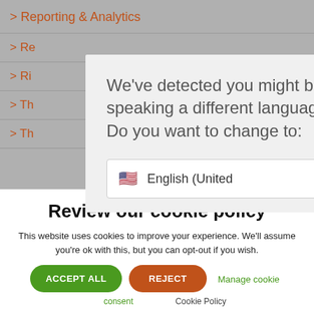[Figure (screenshot): Background of a website with orange navigation links: Reporting & Analytics, and partial links Re..., Ri..., Th..., Th...]
[Figure (screenshot): Modal dialog box on gray website background with text: We've detected you might be speaking a different language. Do you want to change to: and a dropdown showing English (United with US flag and dropdown arrow]
Review our cookie policy
This website uses cookies to improve your experience. We'll assume you're ok with this, but you can opt-out if you wish.
ACCEPT ALL
REJECT
Manage cookie
consent
Cookie Policy